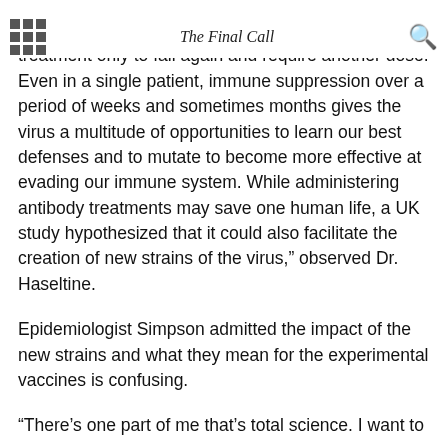The Final Call
cases, patients would recover after one round of treatment only to fall again and require another dose. Even in a single patient, immune suppression over a period of weeks and sometimes months gives the virus a multitude of opportunities to learn our best defenses and to mutate to become more effective at evading our immune system. While administering antibody treatments may save one human life, a UK study hypothesized that it could also facilitate the creation of new strains of the virus,” observed Dr. Haseltine.
Epidemiologist Simpson admitted the impact of the new strains and what they mean for the experimental vaccines is confusing.
“There’s one part of me that’s total science. I want to believe it all. Then there’s another part of me that has to deal with the communication of all of this, the human beings behind all of this, and that’s clandestine, because in the end, you also find it’s about money,” Ms. Simpson said.
“It’s about who’s going to get a contract? Who’s going to make sure